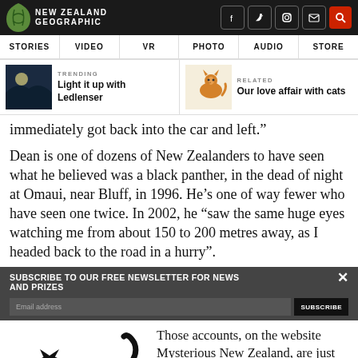NEW ZEALAND GEOGRAPHIC
immediately got back into the car and left.”
Dean is one of dozens of New Zealanders to have seen what he believed was a black panther, in the dead of night at Omaui, near Bluff, in 1996. He’s one of way fewer who have seen one twice. In 2002, he “saw the same huge eyes watching me from about 150 to 200 metres away, as I headed back to the road in a hurry”.
Those accounts, on the website Mysterious New Zealand, are just two in a
[Figure (illustration): Black panther silhouette walking]